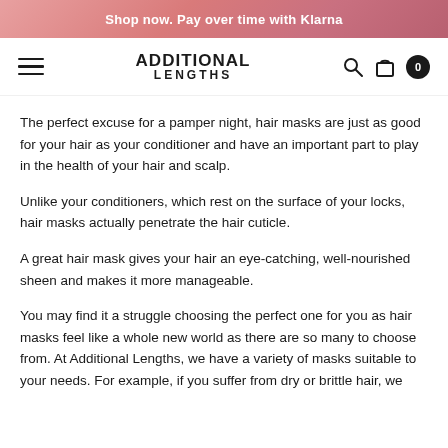Shop now. Pay over time with Klarna
[Figure (logo): Additional Lengths logo with hamburger menu, search icon, bag icon, and cart count badge]
The perfect excuse for a pamper night, hair masks are just as good for your hair as your conditioner and have an important part to play in the health of your hair and scalp.
Unlike your conditioners, which rest on the surface of your locks, hair masks actually penetrate the hair cuticle.
A great hair mask gives your hair an eye-catching, well-nourished sheen and makes it more manageable.
You may find it a struggle choosing the perfect one for you as hair masks feel like a whole new world as there are so many to choose from. At Additional Lengths, we have a variety of masks suitable to your needs. For example, if you suffer from dry or brittle hair, we